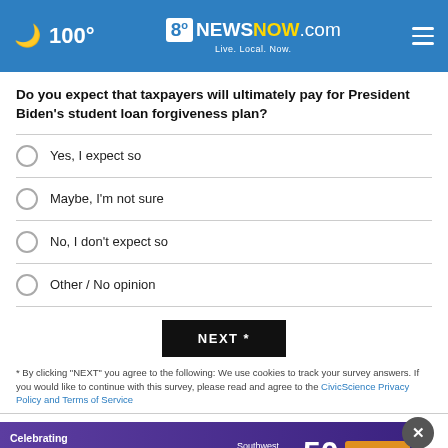🌙 100° | 8 News NOW.com Live. Local. Now.
Do you expect that taxpayers will ultimately pay for President Biden's student loan forgiveness plan?
Yes, I expect so
Maybe, I'm not sure
No, I don't expect so
Other / No opinion
NEXT *
* By clicking "NEXT" you agree to the following: We use cookies to track your survey answers. If you would like to continue with this survey, please read and agree to the CivicScience Privacy Policy and Terms of Service
[Figure (other): Southwest Medical advertisement banner - Celebrating 50 Years of Community Care with Learn more button]
SHOP ONLINE 24/7